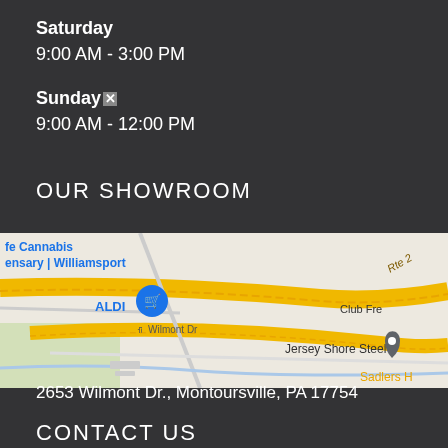Saturday
9:00 AM - 3:00 PM
Sunday
9:00 AM - 12:00 PM
OUR SHOWROOM
[Figure (map): Google Maps screenshot showing the area around 2653 Wilmont Dr, Montoursville, PA 17754, with ALDI store marker visible, Jersey Shore Steel marker, Rte 2 highway, Sadlers H(ill), and references to fe Cannabis ensary Williamsport]
2653 Wilmont Dr., Montoursville, PA 17754
CONTACT US